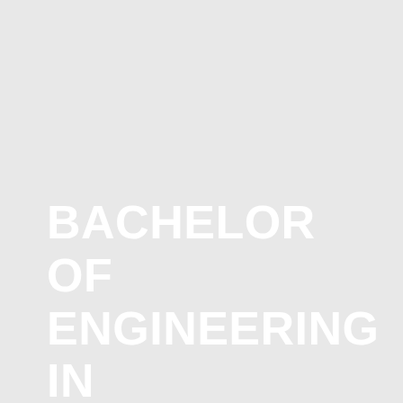BACHELOR OF ENGINEERING IN MECHANICAL ENGINEERING